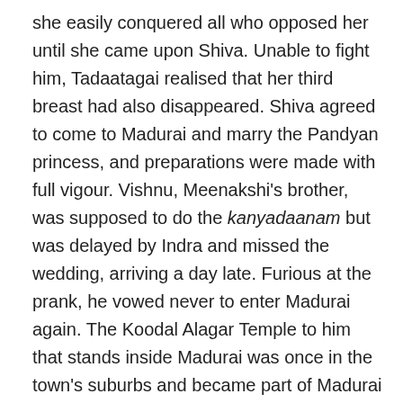she easily conquered all who opposed her until she came upon Shiva. Unable to fight him, Tadaatagai realised that her third breast had also disappeared. Shiva agreed to come to Madurai and marry the Pandyan princess, and preparations were made with full vigour. Vishnu, Meenakshi's brother, was supposed to do the kanyadaanam but was delayed by Indra and missed the wedding, arriving a day late. Furious at the prank, he vowed never to enter Madurai again. The Koodal Alagar Temple to him that stands inside Madurai was once in the town's suburbs and became part of Madurai as the agglomeration expanded. When Meenakshi and Sundareshwar found out what happened, they rushed to Vishnu's camp on the Vaigai and implored him not to be offended. Mollified, Vishnu blessed the newly weds and gave them all the gifts he had brought for them.